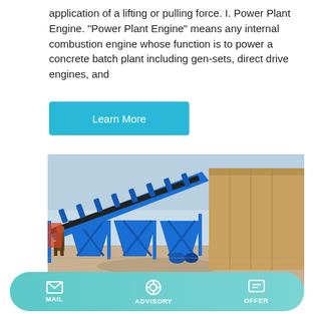application of a lifting or pulling force. I. Power Plant Engine. "Power Plant Engine" means any internal combustion engine whose function is to power a concrete batch plant including gen-sets, direct drive engines, and
Learn More
[Figure (photo): Photograph of a large blue steel concrete batch plant conveyor/aggregate feeder structure on a construction yard, with a worker visible at left and a shipping container in the background.]